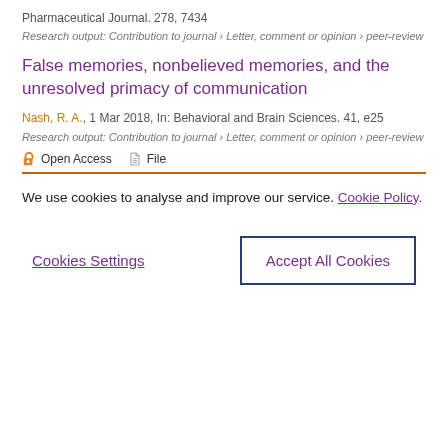Pharmaceutical Journal. 278, 7434
Research output: Contribution to journal › Letter, comment or opinion › peer-review
False memories, nonbelieved memories, and the unresolved primacy of communication
Nash, R. A., 1 Mar 2018, In: Behavioral and Brain Sciences. 41, e25
Research output: Contribution to journal › Letter, comment or opinion › peer-review
Open Access   File
We use cookies to analyse and improve our service. Cookie Policy
Cookies Settings
Accept All Cookies